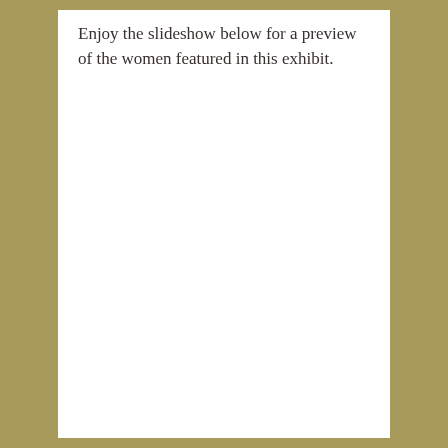Enjoy the slideshow below for a preview of the women featured in this exhibit.